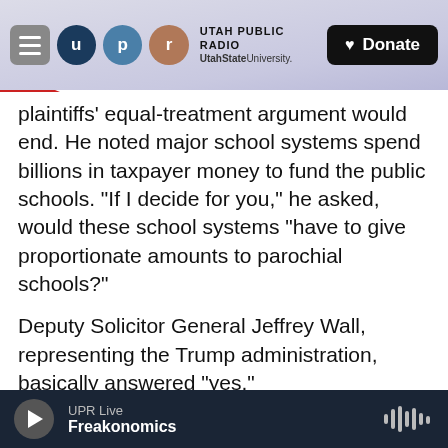UTAH PUBLIC RADIO | UtahStateUniversity. | Donate
plaintiffs' equal-treatment argument would end. He noted major school systems spend billions in taxpayer money to fund the public schools. "If I decide for you," he asked, would these school systems "have to give proportionate amounts to parochial schools?"
Deputy Solicitor General Jeffrey Wall, representing the Trump administration, basically answered "yes."
"You can't deny a generally available public benefit" to an otherwise qualified institution "based solely
UPR Live | Freakonomics